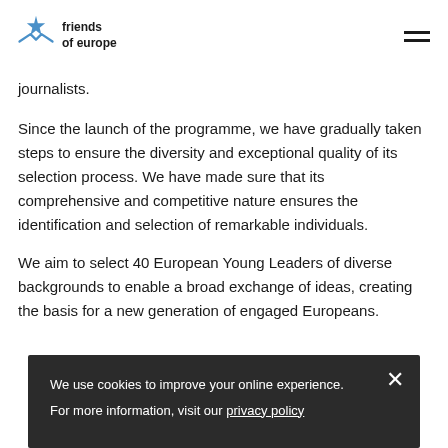friends of europe
journalists.
Since the launch of the programme, we have gradually taken steps to ensure the diversity and exceptional quality of its selection process. We have made sure that its comprehensive and competitive nature ensures the identification and selection of remarkable individuals.
We aim to select 40 European Young Leaders of diverse backgrounds to enable a broad exchange of ideas, creating the basis for a new generation of engaged Europeans.
We use cookies to improve your online experience. For more information, visit our privacy policy